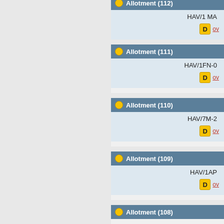Allotment (112)
HAV/1 MA
D ov
Allotment (111)
HAV/1FN-0
D ov
Allotment (110)
HAV/7M-2
D ov
Allotment (109)
HAV/1AP
D ov
Allotment (108)